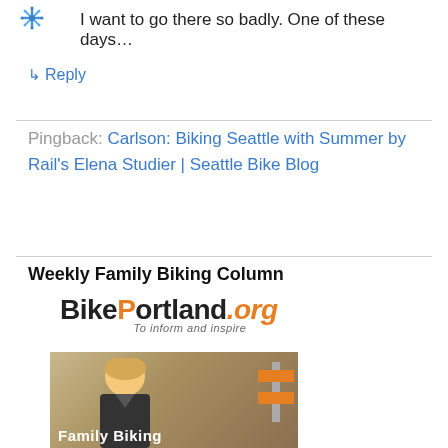[Figure (logo): Small blue snowflake/star icon logo in top left corner]
I want to go there so badly. One of these days…
↳ Reply
Pingback: Carlson: Biking Seattle with Summer by Rail's Elena Studier | Seattle Bike Blog
Weekly Family Biking Column
[Figure (logo): BikePortland.org logo with tagline 'To inform and inspire']
[Figure (photo): Photo of a smiling blonde woman outdoors with an orange construction barrier in background, with text 'Family Biking' overlaid at the bottom]